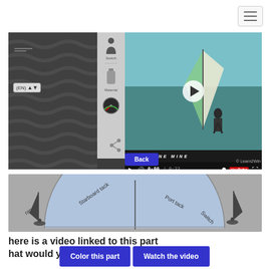[Figure (screenshot): Screenshot of a windsurfing learning app interface showing a video player with a windsurfer on water, sidebar icons (person, bottle, gauge), EN language selector, and dark wave-patterned left panel. Video player shows 0:00/0:33 time and a Back button below.]
[Figure (illustration): Partial diagram of windsurfing tack directions showing a semicircle with labels: Starboard tack, Port tack, Switch, and windsurfer silhouettes on either side. Gray background.]
here is a video linked to this part
hat would you like to do ?
[Figure (other): Two buttons: 'Color this part' and 'Watch the video', both blue with white text]